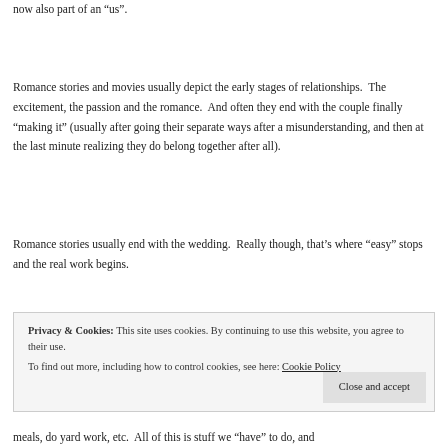now also part of an “us”.
Romance stories and movies usually depict the early stages of relationships.  The excitement, the passion and the romance.  And often they end with the couple finally “making it” (usually after going their separate ways after a misunderstanding, and then at the last minute realizing they do belong together after all).
Romance stories usually end with the wedding.  Really though, that’s where “easy” stops and the real work begins.
Privacy & Cookies: This site uses cookies. By continuing to use this website, you agree to their use.
To find out more, including how to control cookies, see here: Cookie Policy
Close and accept
meals, do yard work, etc.  All of this is stuff we “have” to do, and